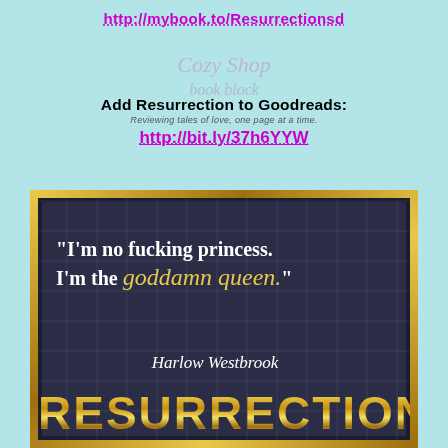http://mybook.to/Resurrectionsd
Add Resurrection to Goodreads:
Reviewing tales of love, one page at a time.
http://bit.ly/37h6YYW
[Figure (illustration): Book promotional graphic with dark navy background, gold border, grid overlay, quote text reading: "I'm no fucking princess. I'm the goddamn queen." attributed to Harlow Westbrook, and large gold RESURRECTION title text at the bottom. Top portion shows a light blue background with illustrated characters and blog branding.]